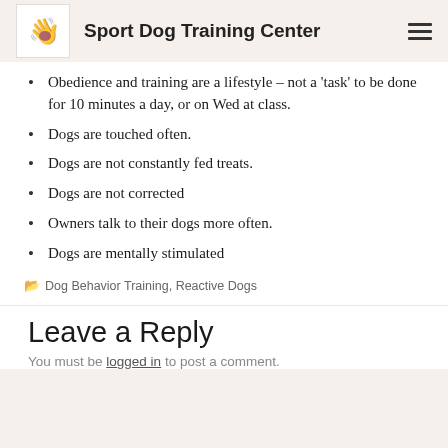Sport Dog Training Center
Obedience and training are a lifestyle – not a ‘task’ to be done for 10 minutes a day, or on Wed at class.
Dogs are touched often.
Dogs are not constantly fed treats.
Dogs are not corrected
Owners talk to their dogs more often.
Dogs are mentally stimulated
Dog Behavior Training, Reactive Dogs
Leave a Reply
You must be logged in to post a comment.